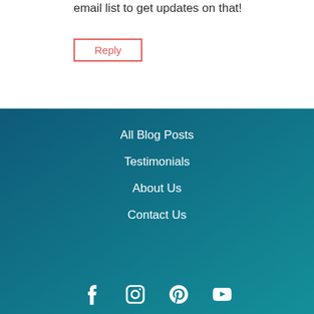email list to get updates on that!
Reply
All Blog Posts
Testimonials
About Us
Contact Us
[Figure (infographic): Social media icons: Facebook, Instagram, Pinterest, YouTube]